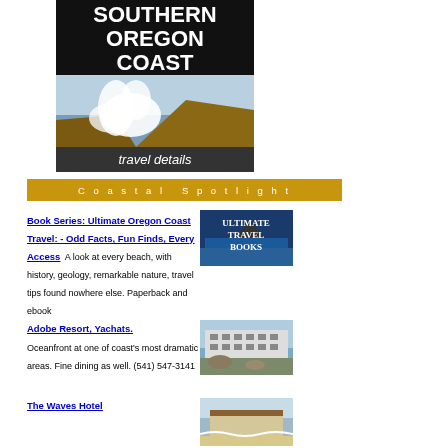[Figure (illustration): Southern Oregon Coast travel details book cover with crashing waves on rocky coast, black background with white bold text reading SOUTHERN OREGON COAST and travel details]
Coastal Spotlight
Book Series: Ultimate Oregon Coast Travel: - Odd Facts, Fun Finds, Every Access A look at every beach, with history, geology, remarkable nature, travel tips found nowhere else. Paperback and ebook
[Figure (illustration): Book cover showing ULTIMATE TRAVEL BOOKS text with coastal imagery]
Adobe Resort, Yachats. Oceanfront at one of coast's most dramatic areas. Fine dining as well. (541) 547-3141
[Figure (photo): Adobe Resort building oceanfront photo]
The Waves Hotel